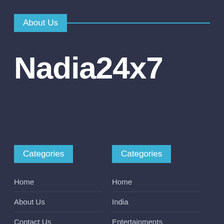About Us
Nadia24x7
Categories
Categories
Home
About Us
Contact Us
Disclaimer
Privacy Policy
Home
India
Entertainments
International
Sports